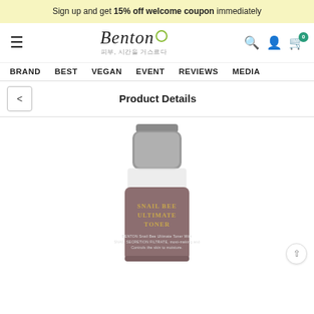Sign up and get 15% off welcome coupon immediately
[Figure (logo): Benton brand logo with Korean subtitle text and green circle accent]
BRAND   BEST   VEGAN   EVENT   REVIEWS   MEDIA
Product Details
[Figure (photo): Benton Snail Bee Ultimate Toner product bottle with gray cap and mauve/brown label showing product name]